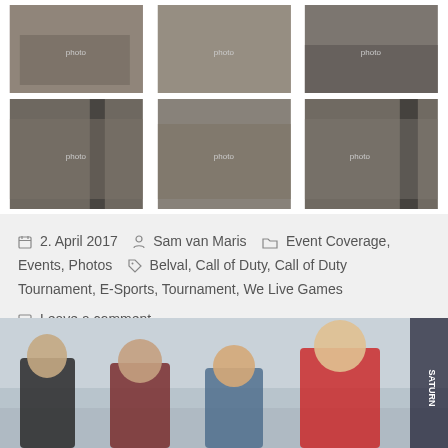[Figure (photo): Top row of three event photos showing gaming tournament participants at WLG event with Saturn branding]
[Figure (photo): Second row of three event photos showing teams posing at WLG gaming event with Saturn banners]
2. April 2017   Sam van Maris   Event Coverage, Events, Photos   Belval, Call of Duty, Call of Duty Tournament, E-Sports, Tournament, We Live Games
Leave a comment
[Figure (photo): Large bottom photo showing four young men posing at a gaming event venue with Saturn branding visible]